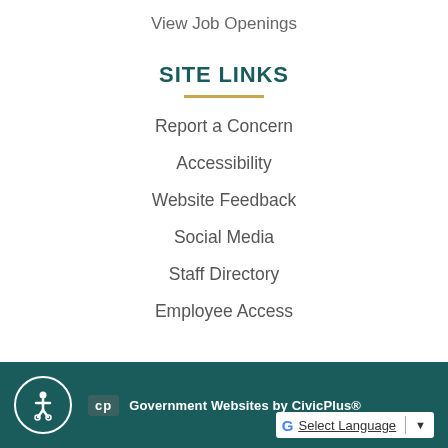View Job Openings
SITE LINKS
Report a Concern
Accessibility
Website Feedback
Social Media
Staff Directory
Employee Access
Government Websites by CivicPlus®